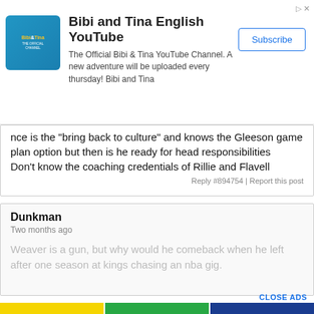[Figure (other): Bibi and Tina YouTube channel advertisement banner with logo, title, description, and Subscribe button]
nce is the "bring back to culture" and knows the Gleeson game plan option but then is he ready for head responsibilities Don't know the coaching credentials of Rillie and Flavell
Reply #894754 | Report this post
Dunkman
Two months ago
Weaver is a gun, but why would he comeback when he left after one season at kings chasing an nba gig.
CLOSE ADS
[Figure (other): BEAM advertisement - Get a free order and payment site for your business, instantly]
[Figure (other): PUNCH advertisement - Insightful time tracking that earns you more.]
[Figure (other): College athletics / College Consulting advertisement]